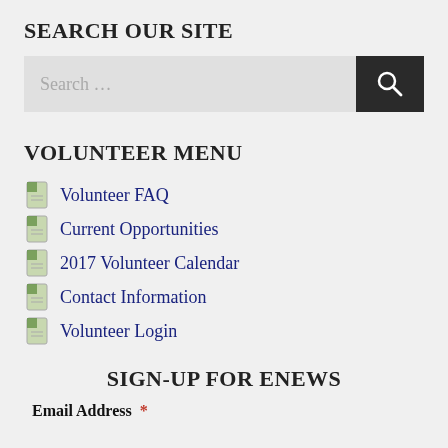SEARCH OUR SITE
[Figure (screenshot): Search bar with text input showing 'Search ...' placeholder and a dark search button with magnifying glass icon]
VOLUNTEER MENU
Volunteer FAQ
Current Opportunities
2017 Volunteer Calendar
Contact Information
Volunteer Login
SIGN-UP FOR ENEWS
Email Address *